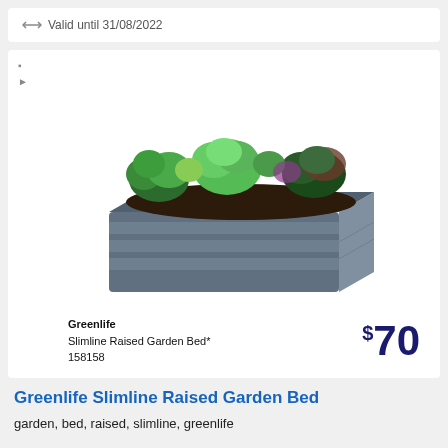Valid until 31/08/2022
[Figure (photo): Greenlife Slimline Raised Garden Bed product photo - a rectangular steel raised garden bed in slate blue/grey color filled with various green herbs and plants]
Greenlife
Slimline Raised Garden Bed*
158158
$70
Greenlife Slimline Raised Garden Bed
garden, bed, raised, slimline, greenlife